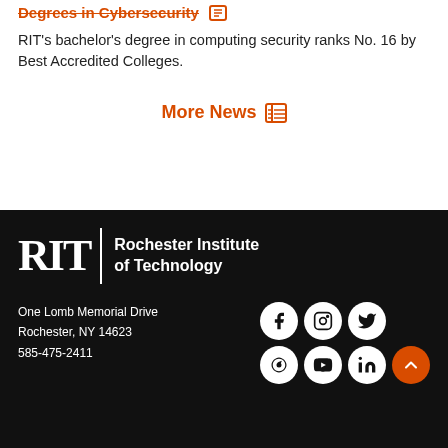Degrees in Cybersecurity
RIT's bachelor's degree in computing security ranks No. 16 by Best Accredited Colleges.
More News
[Figure (logo): RIT - Rochester Institute of Technology logo in white on black background]
One Lomb Memorial Drive
Rochester, NY 14623
585-475-2411